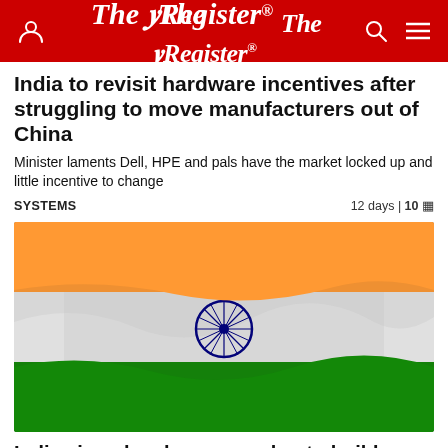The Register
India to revisit hardware incentives after struggling to move manufacturers out of China
Minister laments Dell, HPE and pals have the market locked up and little incentive to change
SYSTEMS   12 days | 10
[Figure (photo): Digital/mesh rendering of the Indian national flag waving, showing saffron, white and green bands with the Ashoka Chakra in navy blue at center]
India signs local server-maker to build nodes for